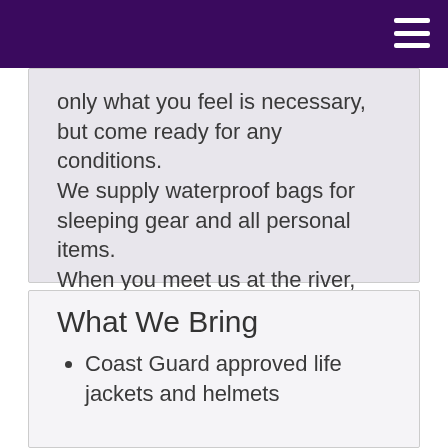only what you feel is necessary, but come ready for any conditions.
We supply waterproof bags for sleeping gear and all personal items.
When you meet us at the river, the first morning of the trip, please, have your gear organized, so that we can pack, load the boats and depart promptly.
What We Bring
Coast Guard approved life jackets and helmets